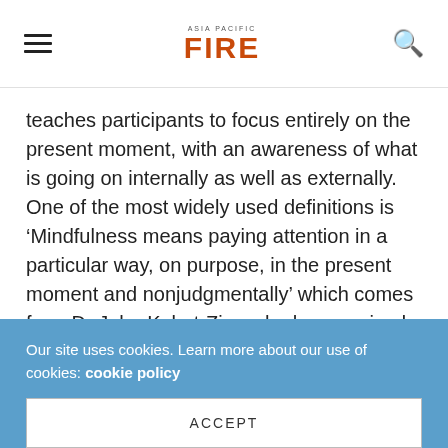ASIA PACIFIC FIRE
teaches participants to focus entirely on the present moment, with an awareness of what is going on internally as well as externally. One of the most widely used definitions is ‘Mindfulness means paying attention in a particular way, on purpose, in the present moment and nonjudgmentally’ which comes from Dr John Kabat-Zinn who has received significant global recognition for his work on mindfulness-based stress reduction.
Mindfulness programmes are increasingly being adopted by private and public organisations
Our site uses cookies. Learn more about our use of cookies: cookie policy
ACCEPT